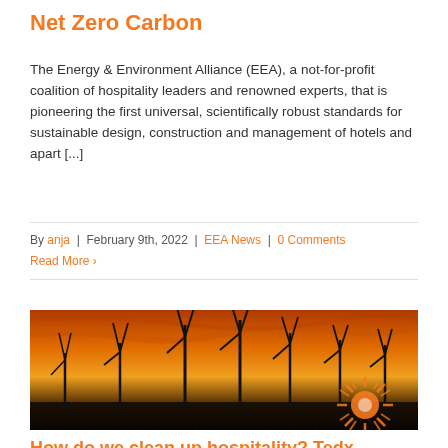Net Zero Carbon
The Energy & Environment Alliance (EEA), a not-for-profit coalition of hospitality leaders and renowned experts, that is pioneering the first universal, scientifically robust standards for sustainable design, construction and management of hotels and apart [...]
By anja | February 9th, 2022 | EEA News | 0 Comments
Read More >
[Figure (photo): Wind turbines silhouetted against an orange and red sunset sky, with an orange sunburst logo/watermark in the lower right]
How do we clean up hospitality? Tedx speech by